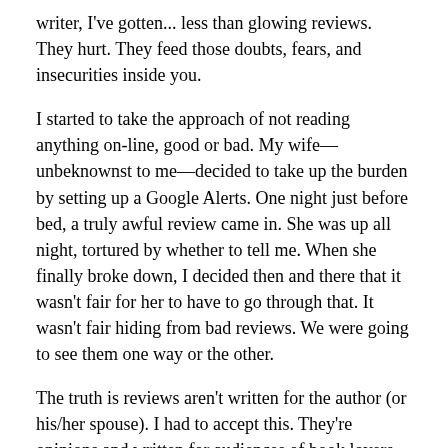writer, I've gotten... less than glowing reviews. They hurt. They feed those doubts, fears, and insecurities inside you.
I started to take the approach of not reading anything on-line, good or bad. My wife—unbeknownst to me—decided to take up the burden by setting up a Google Alerts. One night just before bed, a truly awful review came in. She was up all night, tortured by whether to tell me. When she finally broke down, I decided then and there that it wasn't fair for her to have to go through that. It wasn't fair hiding from bad reviews. We were going to see them one way or the other.
The truth is reviews aren't written for the author (or his/her spouse). I had to accept this. They're opinions and written for audiences of book lovers who might or might not listen to those opinions anyway. At the worst, bad reviews are a bunch of mean-spirited nonsense to be ignored. At their best, bad reviews offer constructive